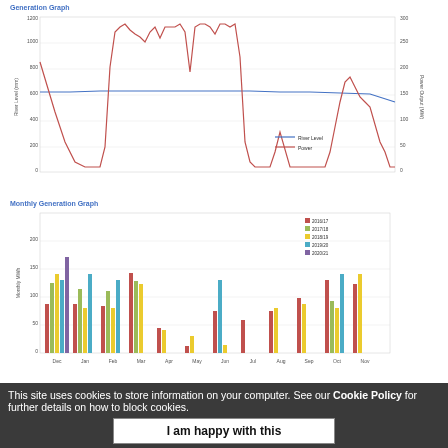[Figure (continuous-plot): Line chart showing River Level (mm) on left y-axis and Power Output (MW) on right y-axis over time. Blue line = River Level, Red line = Power. Power shows large spikes and drops; river level relatively flat.]
[Figure (grouped-bar-chart): Monthly Generation Graph]
[Figure (grouped-bar-chart): Quarterly Generation Graph (Calendar and FiT quarters)]
This site uses cookies to store information on your computer. See our Cookie Policy for further details on how to block cookies.
I am happy with this